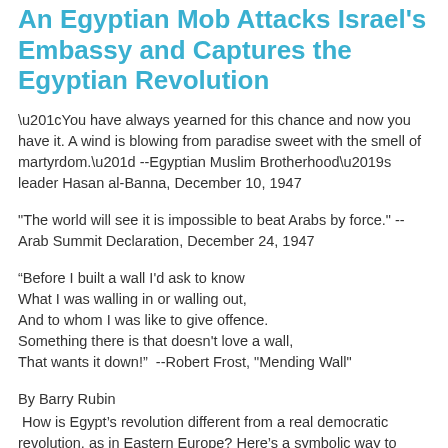An Egyptian Mob Attacks Israel's Embassy and Captures the Egyptian Revolution
“You have always yearned for this chance and now you have it. A wind is blowing from paradise sweet with the smell of martyrdom.” --Egyptian Muslim Brotherhood's leader Hasan al-Banna, December 10, 1947
"The world will see it is impossible to beat Arabs by force." --Arab Summit Declaration, December 24, 1947
“Before I built a wall I'd ask to know
What I was walling in or walling out,
And to whom I was like to give offence.
Something there is that doesn't love a wall,
That wants it down!”  --Robert Frost, "Mending Wall"
By Barry Rubin
How is Egypt's revolution different from a real democratic revolution, as in Eastern Europe? Here's a symbolic way to express it...